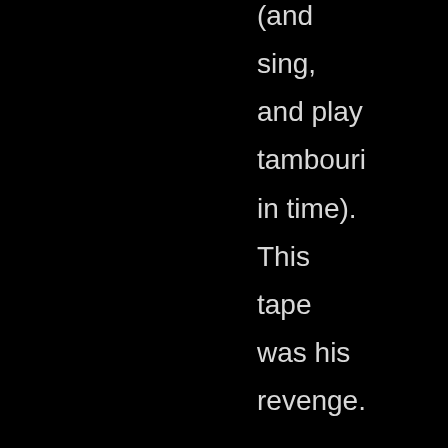(and sing, and play tambouri in time). This tape was his revenge. As to the technical aspects – it certainly could have been faked, but whoever did it got it very